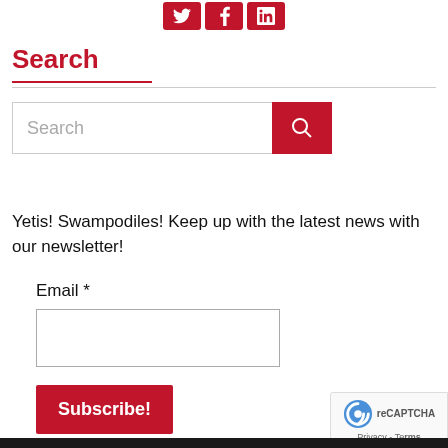[Figure (other): Three red social media icon buttons (Twitter, Facebook, LinkedIn) displayed in a row at the top center of the page]
Search
[Figure (other): Search input field with placeholder text 'Search' and a red search button with magnifying glass icon]
Yetis! Swampodiles! Keep up with the latest news with our newsletter!
Email *
[Figure (other): Email input field (empty text box)]
[Figure (other): Red Subscribe! button]
[Figure (other): Google reCAPTCHA privacy badge in bottom right corner]